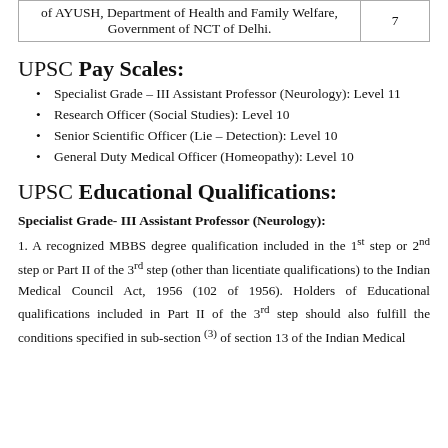|  |  |
| --- | --- |
| of AYUSH, Department of Health and Family Welfare, Government of NCT of Delhi. | 7 |
UPSC Pay Scales:
Specialist Grade – III Assistant Professor (Neurology): Level 11
Research Officer (Social Studies): Level 10
Senior Scientific Officer (Lie – Detection): Level 10
General Duty Medical Officer (Homeopathy): Level 10
UPSC Educational Qualifications:
Specialist Grade- III Assistant Professor (Neurology):
1. A recognized MBBS degree qualification included in the 1st step or 2nd step or Part II of the 3rd step (other than licentiate qualifications) to the Indian Medical Council Act, 1956 (102 of 1956). Holders of Educational qualifications included in Part II of the 3rd step should also fulfill the conditions specified in sub-section (3) of section 13 of the Indian Medical